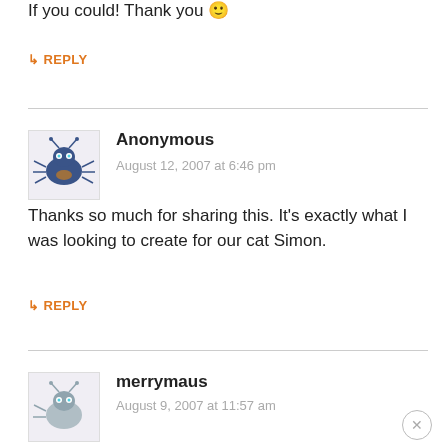If you could! Thank you 🙂
↳ REPLY
Anonymous
August 12, 2007 at 6:46 pm
Thanks so much for sharing this. It's exactly what I was looking to create for our cat Simon.
↳ REPLY
merrymaus
August 9, 2007 at 11:57 am